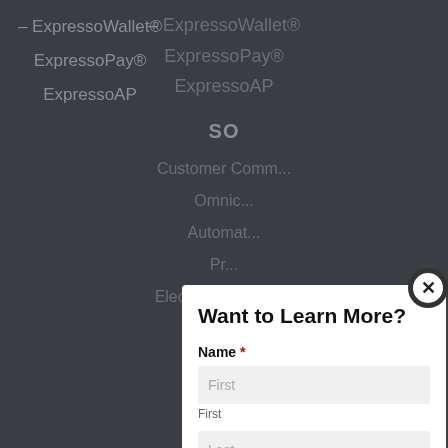– ExpressoWallet®
ExpressoPay®
ExpressoAP
SO
Customer Comm...
Omnic...
Automat...
Pr...
Electronic Bill Pre...
AP Paym...
HOA El...
IN
Want to Learn More?
Name *
First (input placeholder)
First (sublabel)
Last (input placeholder)
Last (sublabel)
Work Email *